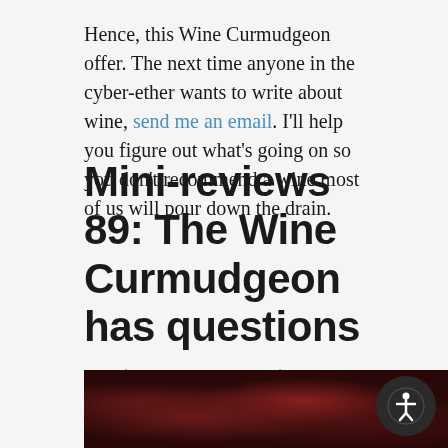Hence, this Wine Curmudgeon offer. The next time anyone in the cyber-ether wants to write about wine, send me an email. I'll help you figure out what's going on so you don't recommend a wine most of us will pour down the drain.
Mini-reviews 89: The Wine Curmudgeon has questions
Posted On 23 Sep 2016   By Wine Curmudgeon
In $10 wine, A Featured Post, French wine, Italian wine, Red wine, Rose wine, White wine, Wine reviews
[Figure (photo): Close-up photo of dark red cherries and a glass of red wine]